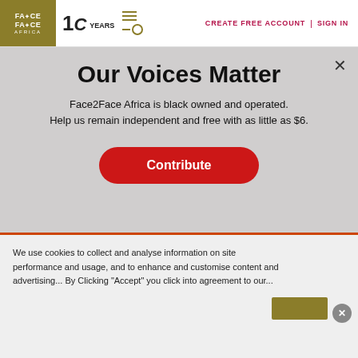Face2Face Africa | 10 YEARS | CREATE FREE ACCOUNT | SIGN IN
Our Voices Matter
Face2Face Africa is black owned and operated. Help us remain independent and free with as little as $6.
Contribute
Idris Elba sparksdebateafterrefusing to
We use cookies to collect and analyse information on site performance and usage, and to enhance and customise content and advertising...